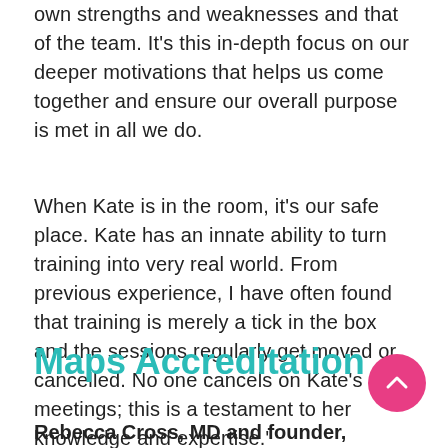own strengths and weaknesses and that of the team. It's this in-depth focus on our deeper motivations that helps us come together and ensure our overall purpose is met in all we do.
When Kate is in the room, it's our safe place. Kate has an innate ability to turn training into very real world. From previous experience, I have often found that training is merely a tick in the box and the sessions regularly get moved or cancelled. No one cancels on Kate's meetings; this is a testament to her knowledge and expertise."
Maps Accreditation
Rebecca Cross, MD and founder, Rebecca